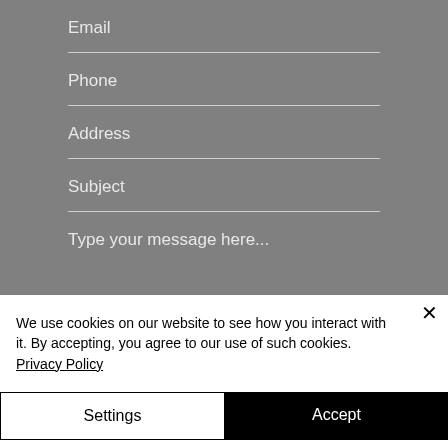Email
Phone
Address
Subject
Type your message here...
We use cookies on our website to see how you interact with it. By accepting, you agree to our use of such cookies. Privacy Policy
Settings
Accept